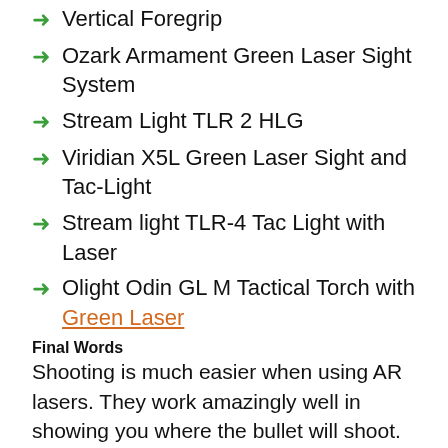Vertical Foregrip
Ozark Armament Green Laser Sight System
Stream Light TLR 2 HLG
Viridian X5L Green Laser Sight and Tac-Light
Stream light TLR-4 Tac Light with Laser
Olight Odin GL M Tactical Torch with Green Laser
Final Words
Shooting is much easier when using AR lasers. They work amazingly well in showing you where the bullet will shoot.  You can use your AR laser during the day but they are best suited for night shooting or shooting in low light conditions. I believe you now have more information on how